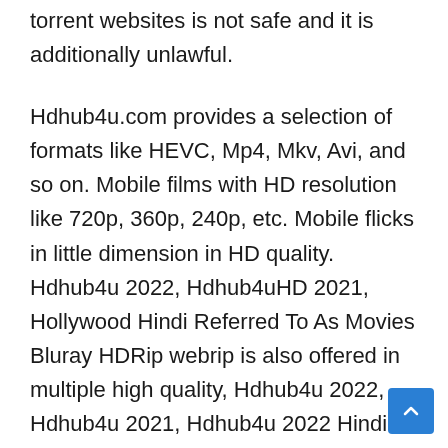torrent websites is not safe and it is additionally unlawful.
Hdhub4u.com provides a selection of formats like HEVC, Mp4, Mkv, Avi, and so on. Mobile films with HD resolution like 720p, 360p, 240p, etc. Mobile flicks in little dimension in HD quality. Hdhub4u 2022, Hdhub4uHD 2021, Hollywood Hindi Referred To As Movies Bluray HDRip webrip is also offered in multiple high quality, Hdhub4u 2022, Hdhub4u 2021, Hdhub4u 2022 Hindi movies. There are many people that regularly go to the HDHub4u internet site to download motion pictures or see movies on the internet, but it is not safe to do so, as using third-party web sites is always hazardous. Your data may be stolen when you